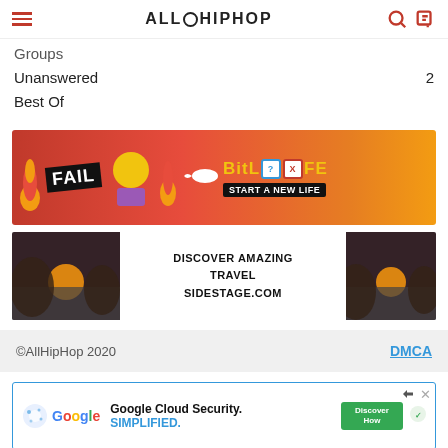ALLHIPHOP
Groups
Unanswered  2
Best Of
[Figure (other): BitLife advertisement: orange/red background with 'FAIL' text, cartoon character, and 'START A NEW LIFE' tagline]
[Figure (other): Travel advertisement: sunset landscape images with 'DISCOVER AMAZING TRAVEL SIDESTAGE.COM' text]
©AllHipHop 2020   DMCA
[Figure (other): Google Cloud Security advertisement: 'Google Cloud Security. SIMPLIFIED.' with Discover How button]